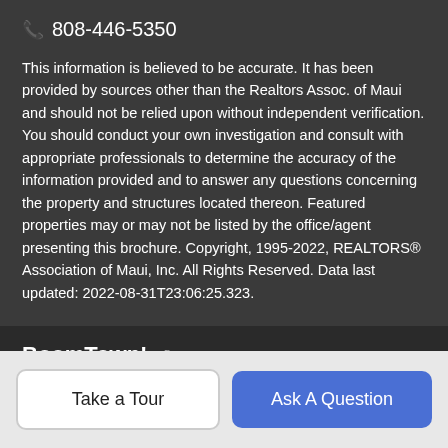☎ 808-446-5350
This information is believed to be accurate. It has been provided by sources other than the Realtors Assoc. of Maui and should not be relied upon without independent verification. You should conduct your own investigation and consult with appropriate professionals to determine the accuracy of the information provided and to answer any questions concerning the property and structures located thereon. Featured properties may or may not be listed by the office/agent presenting this brochure. Copyright, 1995-2022, REALTORS® Association of Maui, Inc. All Rights Reserved. Data last updated: 2022-08-31T23:06:25.323.
BoomTown! © 2022
Terms of Use | Privacy Policy | Accessibility | DMCA | Listings Sitemap